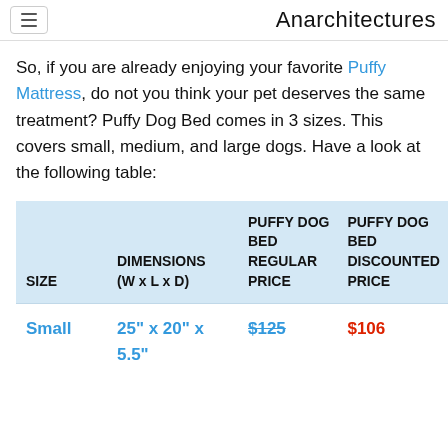Anarchitectures
So, if you are already enjoying your favorite Puffy Mattress, do not you think your pet deserves the same treatment? Puffy Dog Bed comes in 3 sizes. This covers small, medium, and large dogs. Have a look at the following table:
| SIZE | DIMENSIONS (W x L x D) | PUFFY DOG BED REGULAR PRICE | PUFFY DOG BED DISCOUNTED PRICE |
| --- | --- | --- | --- |
| Small | 25" x 20" x 5.5" | $125 | $106 |